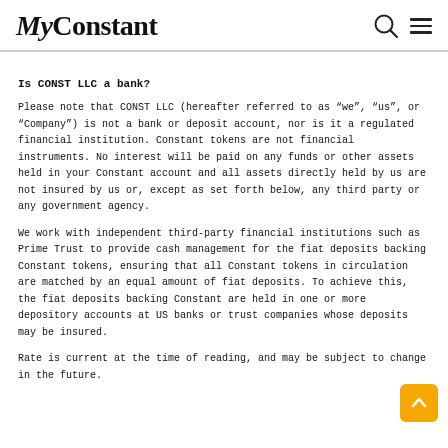MyConstant
Is CONST LLC a bank?
Please note that CONST LLC (hereafter referred to as “we”, “us”, or “Company”) is not a bank or deposit account, nor is it a regulated financial institution. Constant tokens are not financial instruments. No interest will be paid on any funds or other assets held in your Constant account and all assets directly held by us are not insured by us or, except as set forth below, any third party or any government agency.
We work with independent third-party financial institutions such as Prime Trust to provide cash management for the fiat deposits backing Constant tokens, ensuring that all Constant tokens in circulation are matched by an equal amount of fiat deposits. To achieve this, the fiat deposits backing Constant are held in one or more depository accounts at US banks or trust companies whose deposits may be insured.
Rate is current at the time of reading, and may be subject to change in the future.